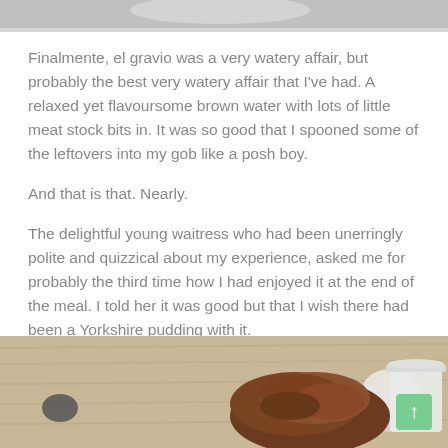[Figure (photo): Top portion of a food photo, showing a plate/bowl with food, cropped at the top of the page]
Finalmente, el gravio was a very watery affair, but probably the best very watery affair that I've had. A relaxed yet flavoursome brown water with lots of little meat stock bits in. It was so good that I spooned some of the leftovers into my gob like a posh boy.
And that is that. Nearly.
The delightful young waitress who had been unerringly polite and quizzical about my experience, asked me for probably the third time how I had enjoyed it at the end of the meal. I told her it was good but that I wish there had been a Yorkshire pudding with it.
2 minutes later...
[Figure (photo): Food photo showing a Yorkshire pudding on a wooden board, with a small white jug/pitcher visible on the right side. A green scroll-to-top button is overlaid in the bottom-right corner.]